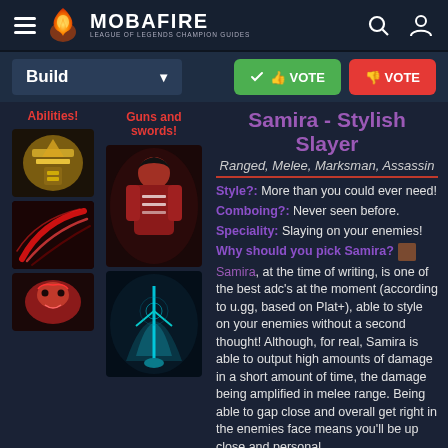MOBAFIRE — LEAGUE OF LEGENDS CHAMPION GUIDES
Build ▼ | VOTE | VOTE
Samira - Stylish Slayer
Ranged, Melee, Marksman, Assassin
Style?: More than you could ever need!
Comboing?: Never seen before.
Speciality: Slaying on your enemies!
Why should you pick Samira? Samira, at the time of writing, is one of the best adc's at the moment (according to u.gg, based on Plat+), able to style on your enemies without a second thought! Although, for real, Samira is able to output high amounts of damage in a short amount of time, the damage being amplified in melee range. Being able to gap close and overall get right in the enemies face means you'll be up close and personal
Abilities!
Guns and swords!
[Figure (illustration): Three ability icons for Samira champion stacked vertically - gold armor icon, red slash icon, red mask icon]
[Figure (illustration): Two Samira champion artwork images stacked vertically - character in red outfit and teal/blue sword art]